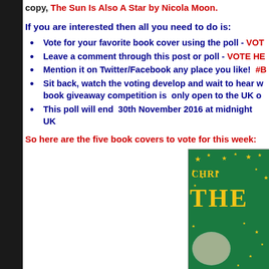copy, The Sun Is Also A Star by Nicola Moon.
If you are interested then all you need to do is:
Vote for your favorite book cover using the poll - VOTE HERE
Leave a comment through this post or poll - VOTE HERE
Mention it on Twitter/Facebook any place you like!  #B
Sit back, watch the voting develop and wait to hear w... book giveaway competition is  only open to the UK o...
This poll will end  30th November 2016 at midnight UK
So here are the five book covers to vote for this week:
[Figure (photo): Partial view of a book cover with green background, yellow stars, and yellow text showing 'CHRI' and 'THE']